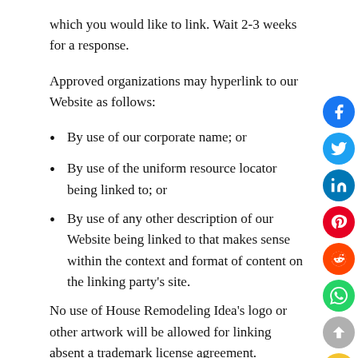which you would like to link. Wait 2-3 weeks for a response.
Approved organizations may hyperlink to our Website as follows:
By use of our corporate name; or
By use of the uniform resource locator being linked to; or
By use of any other description of our Website being linked to that makes sense within the context and format of content on the linking party's site.
No use of House Remodeling Idea's logo or other artwork will be allowed for linking absent a trademark license agreement.